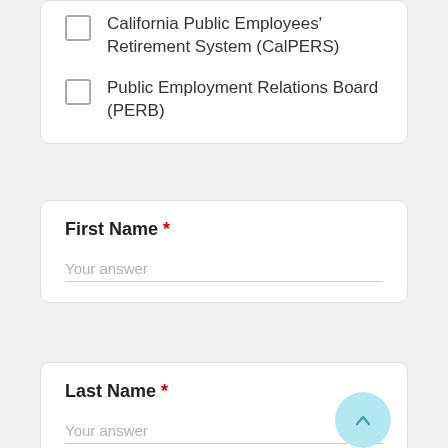California Public Employees' Retirement System (CalPERS)
Public Employment Relations Board (PERB)
First Name *
Your answer
Last Name *
Your answer